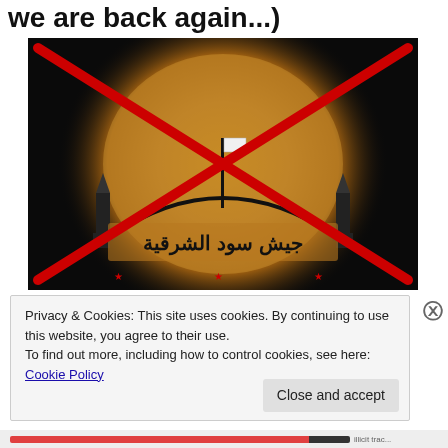we are back again...)
[Figure (photo): A dark image with an orange/golden glowing sphere in the background. Text in Arabic script is displayed across the bottom in black on the sphere. A white flag is visible at the top center. Two mosque-like towers flank the sides. A large red X is overlaid on the entire image.]
Privacy & Cookies: This site uses cookies. By continuing to use this website, you agree to their use.
To find out more, including how to control cookies, see here: Cookie Policy